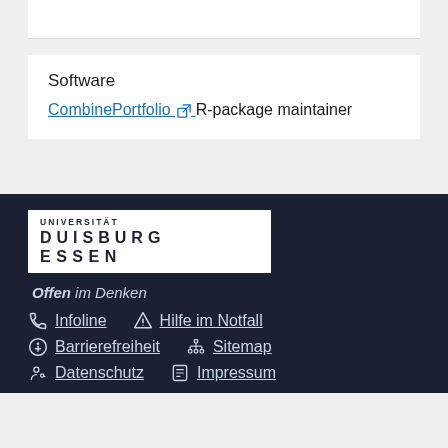Software
CombinePortfolio [external link] R-package maintainer
[Figure (logo): Universität Duisburg Essen logo in white box]
Offen im Denken
Infoline | Hilfe im Notfall | Barrierefreiheit | Sitemap | Datenschutz | Impressum